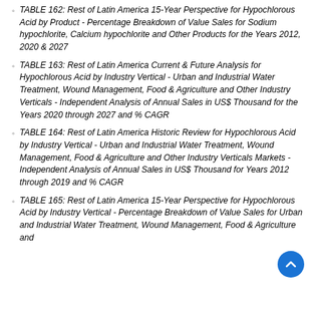TABLE 162: Rest of Latin America 15-Year Perspective for Hypochlorous Acid by Product - Percentage Breakdown of Value Sales for Sodium hypochlorite, Calcium hypochlorite and Other Products for the Years 2012, 2020 & 2027
TABLE 163: Rest of Latin America Current & Future Analysis for Hypochlorous Acid by Industry Vertical - Urban and Industrial Water Treatment, Wound Management, Food & Agriculture and Other Industry Verticals - Independent Analysis of Annual Sales in US$ Thousand for the Years 2020 through 2027 and % CAGR
TABLE 164: Rest of Latin America Historic Review for Hypochlorous Acid by Industry Vertical - Urban and Industrial Water Treatment, Wound Management, Food & Agriculture and Other Industry Verticals Markets - Independent Analysis of Annual Sales in US$ Thousand for Years 2012 through 2019 and % CAGR
TABLE 165: Rest of Latin America 15-Year Perspective for Hypochlorous Acid by Industry Vertical - Percentage Breakdown of Value Sales for Urban and Industrial Water Treatment, Wound Management, Food & Agriculture and